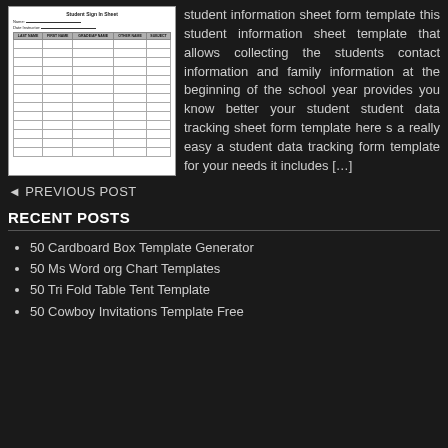[Figure (screenshot): Thumbnail image of a Student Sign In Sheet form template with fields for Name, Date, and a table with columns: Last Name, First Name, Grade/AP Name, Other Name, Subject]
student information sheet form template this student information sheet template that allows collecting the students contact information and family information at the beginning of the school year provides you know better your student student data tracking sheet form template here s a really easy a student data tracking form template for your needs it includes […]
◄ PREVIOUS POST
RECENT POSTS
50 Cardboard Box Template Generator
50 Ms Word org Chart Templates
50 Tri Fold Table Tent Template
50 Cowboy Invitations Template Free